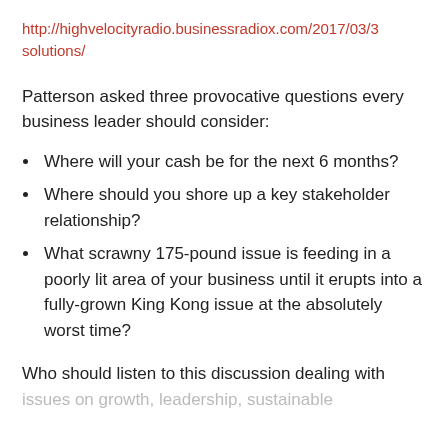http://highvelocityradio.businessradiox.com/2017/03/30/solutions/
Patterson asked three provocative questions every business leader should consider:
Where will your cash be for the next 6 months?
Where should you shore up a key stakeholder relationship?
What scrawny 175-pound issue is feeding in a poorly lit area of your business until it erupts into a fully-grown King Kong issue at the absolutely worst time?
Who should listen to this discussion dealing with issues on growth, leadership, sustainable